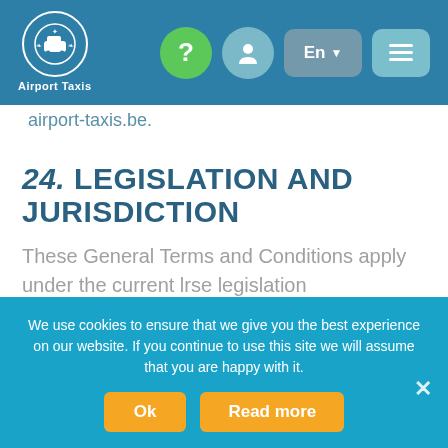[Figure (screenshot): Airport Taxis website navigation bar with logo, help button, user button, language selector (En), and hamburger menu]
airport-taxis.be.
24. LEGISLATION AND JURISDICTION
These General Terms and Conditions apply under the current lrse legislation
The contract that is concluded between the Company and you as a Customer is governed by
We use cookies to ensure that we give you the best experience on our website. If you continue to use this site we will assume that you are happy with it.